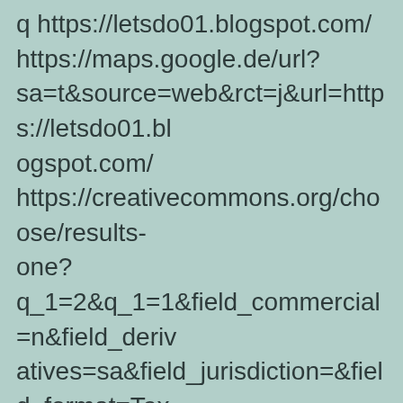q https://letsdo01.blogspot.com/ https://maps.google.de/url?sa=t&source=web&rct=j&url=https://letsdo01.blogspot.com/ https://creativecommons.org/choose/results-one?q_1=2&q_1=1&field_commercial=n&field_derivatives=sa&field_jurisdiction=&field_format=Text&field_worktitle=Blog&field_attribute_to_name=LamHUA&field_attribute_to_url=https://letsdo01.blogspot.com/ https://maps.google.co.jp/url?sa=j&rct=j&url=https://letsdo01.blogspot.com/ https://www.google.co.uk/url?